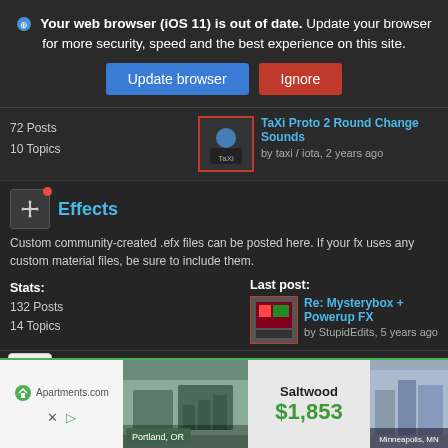Your web browser (iOS 11) is out of date. Update your browser for more security, speed and the best experience on this site.
Update browser | Ignore
72 Posts
10 Topics
TaXi Proto 2 Round Change Sounds
by taxi / iota, 2 years ago
Effects
Custom community-created .efx files can be posted here. If your fx uses any custom material files, be sure to include them.
Stats:
132 Posts
14 Topics
Last post:
Re: Mysterybox + Powerup FX
by StupidEdits, 5 years ago
[Figure (screenshot): Advertisement banner for Apartments.com showing property listings in Portland OR and Minneapolis MN with price $1,853]